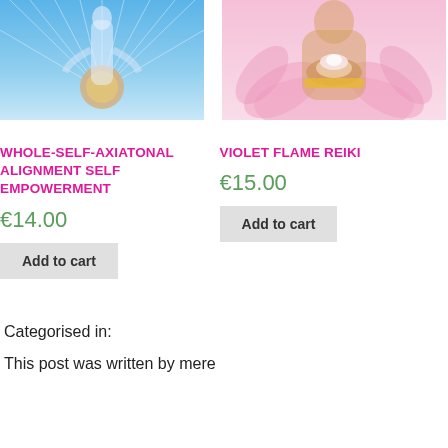[Figure (photo): Product image left: a spiritual figure with light rays emanating from a glowing orb, blue background]
[Figure (photo): Product image right: a deity or spiritual figure holding a lotus flower, pink floral background]
WHOLE-SELF-AXIATONAL ALIGNMENT SELF EMPOWERMENT
VIOLET FLAME REIKI
€14.00
€15.00
Add to cart
Add to cart
Categorised in:
This post was written by mere